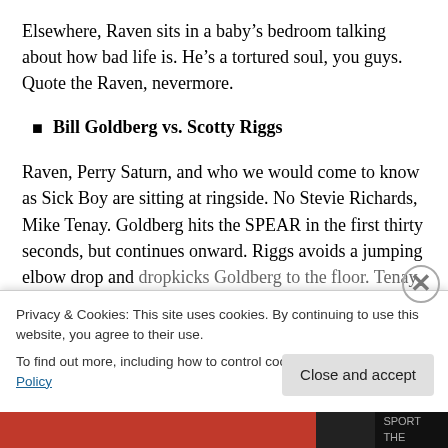Elsewhere, Raven sits in a baby’s bedroom talking about how bad life is. He’s a tortured soul, you guys. Quote the Raven, nevermore.
Bill Goldberg vs. Scotty Riggs
Raven, Perry Saturn, and who we would come to know as Sick Boy are sitting at ringside. No Stevie Richards, Mike Tenay. Goldberg hits the SPEAR in the first thirty seconds, but continues onward. Riggs avoids a jumping elbow drop and dropkicks Goldberg to the floor. Tenay mentions how Gene...
Privacy & Cookies: This site uses cookies. By continuing to use this website, you agree to their use.
To find out more, including how to control cookies, see here: Cookie Policy